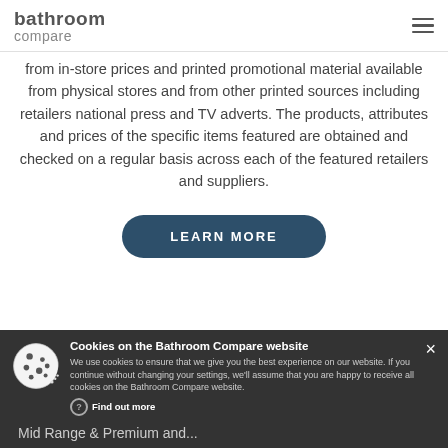bathroom compare
from in-store prices and printed promotional material available from physical stores and from other printed sources including retailers national press and TV adverts. The products, attributes and prices of the specific items featured are obtained and checked on a regular basis across each of the featured retailers and suppliers.
LEARN MORE
Cookies on the Bathroom Compare website
We use cookies to ensure that we give you the best experience on our website. If you continue without changing your settings, we'll assume that you are happy to receive all cookies on the Bathroom Compare website.
Find out more
After cho... the next decision is what level of quality... We have broken these down into four options: Entry, Entry Plus, Mid Range & Premium and...